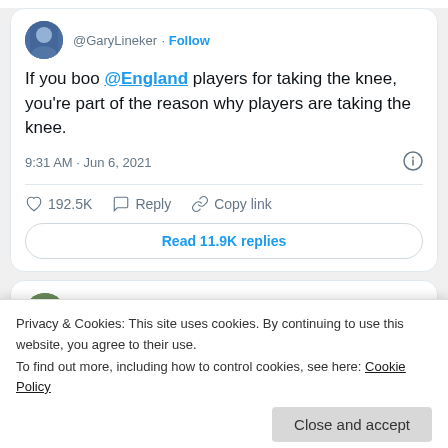[Figure (screenshot): Tweet by @GaryLineker with Follow button, tweet text about taking the knee, timestamp 9:31 AM Jun 6 2021, likes 192.5K, Reply, Copy link actions, and Read 11.9K replies button]
If you boo @England players for taking the knee, you're part of the reason why players are taking the knee.
9:31 AM · Jun 6, 2021
192.5K  Reply  Copy link
Read 11.9K replies
[Figure (screenshot): Partial tweet card for Dr Rakib Ehsan with verified badge and Twitter bird icon]
Privacy & Cookies: This site uses cookies. By continuing to use this website, you agree to their use.
To find out more, including how to control cookies, see here: Cookie Policy
Close and accept